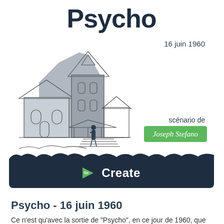Psycho
[Figure (illustration): Line drawing illustration of the Psycho house (Bates Motel house) — a Victorian-style house with a tall central tower, arched windows, and a figure standing at the bottom of front steps. Rendered in sketch style with gray fill.]
16 juin 1960
scénario de
Joseph Stefano
[Figure (logo): SoCreate logo — green play arrow with 'So' text and 'Create' in white on dark navy background.]
Psycho - 16 juin 1960
Ce n'est qu'avec la sortie de "Psycho", en ce jour de 1960, que les spectateurs ont été véritablement convaincus que les films d'horreur urbains allaient